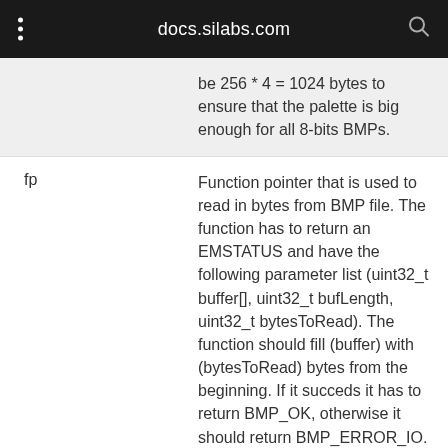docs.silabs.com
| Parameter | Description |
| --- | --- |
|  | be 256 * 4 = 1024 bytes to ensure that the palette is big enough for all 8-bits BMPs. |
| fp | Function pointer that is used to read in bytes from BMP file. The function has to return an EMSTATUS and have the following parameter list (uint32_t buffer[], uint32_t bufLength, uint32_t bytesToRead). The function should fill (buffer) with (bytesToRead) bytes from the beginning. If it succeds it has to return BMP_OK, otherwise it should return BMP_ERROR_IO. When the function returns it should |